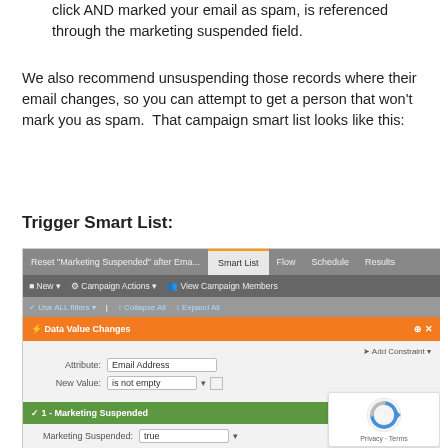click AND marked your email as spam, is referenced through the marketing suspended field.
We also recommend unsuspending those records where their email changes, so you can attempt to get a person that won’t mark you as spam.  That campaign smart list looks like this:
Trigger Smart List:
[Figure (screenshot): Screenshot of a Marketo Smart Campaign showing the Smart List tab. The campaign is titled 'Reset "Marketing Suspended" after Ema...' with tabs for Smart List, Flow, Schedule, and Results. The Smart List has: a Data Value Changes trigger with Attribute: Email Address and New Value: is not empty; filter 1 - Marketing Suspended with value: true; filter 2 - Marketing Suspended Reason contains |4| A Bot Clicker; Chronic Non-Respond...]